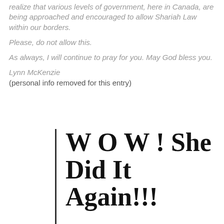realize that various levels of government, here in Canada, are being approached and encouraged to allow Shariah Law within our borders.
Please, do not allow this.
As always, I will continue to pray for you. May God bless you.
Lynn McKenzie
(personal info removed for this entry)
W O W ! She Did It Again!!!